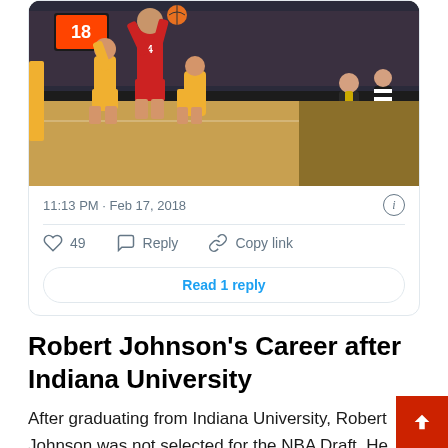[Figure (photo): Basketball game action photo showing a player in red Indiana uniform #4 jumping to shoot over defenders in yellow Iowa uniforms, with coaches and referee visible in background]
11:13 PM · Feb 17, 2018
49  Reply  Copy link
Read 1 reply
Robert Johnson's Career after Indiana University
After graduating from Indiana University, Robert Johnson was not selected for the NBA Draft. He spent the sum participating in the summer league, after which he was